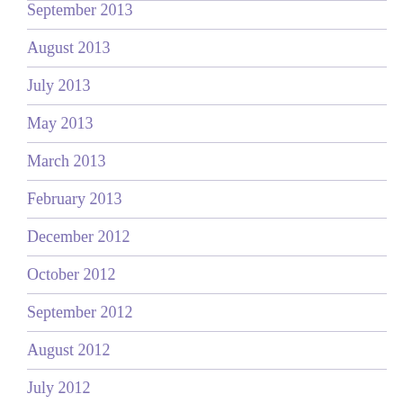September 2013
August 2013
July 2013
May 2013
March 2013
February 2013
December 2012
October 2012
September 2012
August 2012
July 2012
June 2012
May 2012